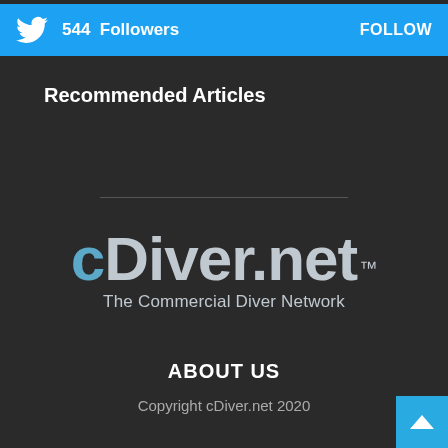[Figure (infographic): Twitter follow bar with bird icon, showing 544 Followers and FOLLOW button on cyan background]
Recommended Articles
[Figure (logo): cDiver.net logo with TM mark and tagline 'The Commercial Diver Network' on dark background]
ABOUT US
Copyright cDiver.net 2020